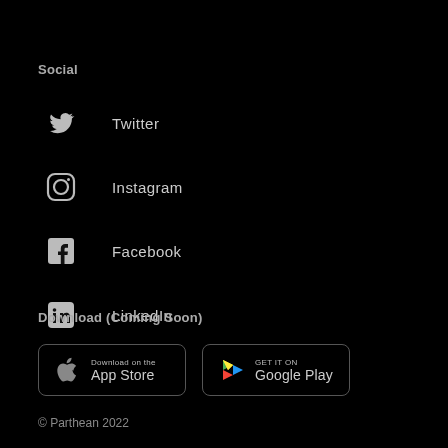Social
Twitter
Instagram
Facebook
LinkedIn
Download (Coming Soon)
[Figure (other): App Store download button]
[Figure (other): Google Play download button]
© Parthean 2022